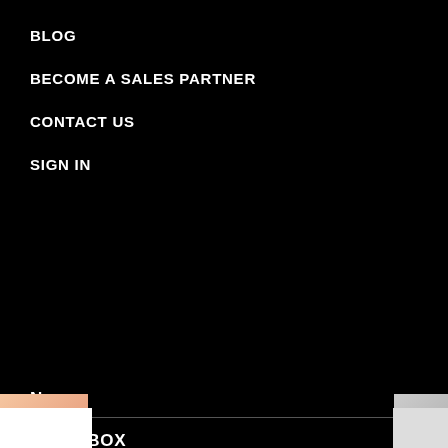BLOG
BECOME A SALES PARTNER
CONTACT US
SIGN IN
N
AZOR BOX
BLADES
INSTRUCTIONS
WOMEN
1 RAZOR BOX
BLADES